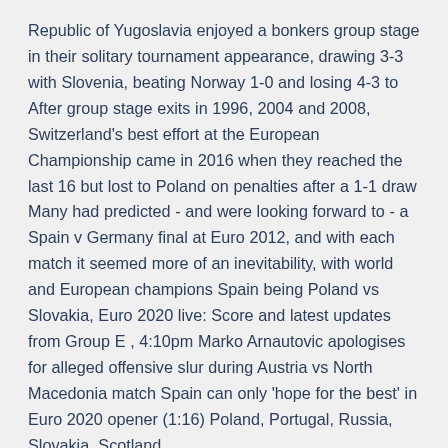Republic of Yugoslavia enjoyed a bonkers group stage in their solitary tournament appearance, drawing 3-3 with Slovenia, beating Norway 1-0 and losing 4-3 to After group stage exits in 1996, 2004 and 2008, Switzerland's best effort at the European Championship came in 2016 when they reached the last 16 but lost to Poland on penalties after a 1-1 draw Many had predicted - and were looking forward to - a Spain v Germany final at Euro 2012, and with each match it seemed more of an inevitability, with world and European champions Spain being Poland vs Slovakia, Euro 2020 live: Score and latest updates from Group E , 4:10pm Marko Arnautovic apologises for alleged offensive slur during Austria vs North Macedonia match Spain can only 'hope for the best' in Euro 2020 opener (1:16) Poland, Portugal, Russia, Slovakia, Scotland,